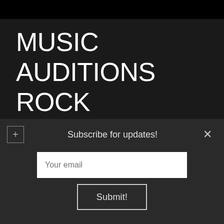MUSIC AUDITIONS ROCK CALIFORNIA, USA 22-04-2021 17:53 GMT
Subscribe for updates!
Your email
Submit!